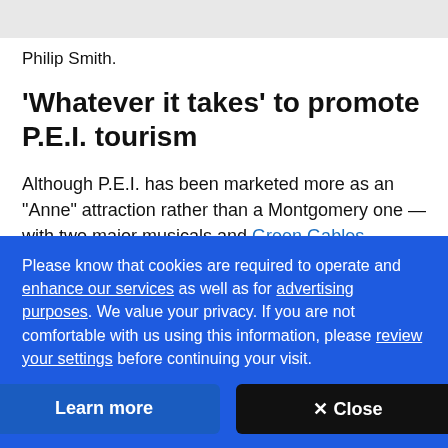Philip Smith.
'Whatever it takes' to promote P.E.I. tourism
Although P.E.I. has been marketed more as an "Anne" attraction rather than a Montgomery one — with two major musicals and Green Gables National Historic Site marketed as big draws — anything that increases
Please know that cookies are required to operate and enhance our services as well as for advertising purposes. We value your privacy. If you are not comfortable with us using this information, please review your settings before continuing your visit.
Learn more
✕ Close